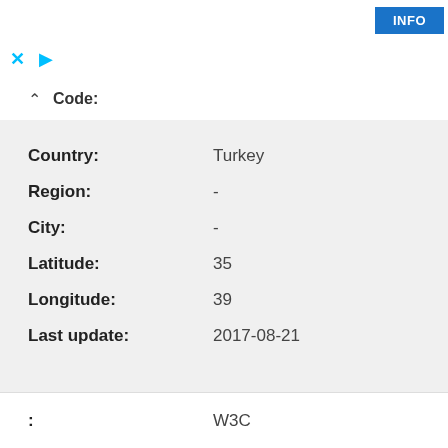INFO
City: ...
Code:
| Field | Value |
| --- | --- |
| Country: | Turkey |
| Region: | - |
| City: | - |
| Latitude: | 35 |
| Longitude: | 39 |
| Last update: | 2017-08-21 |
: W3C